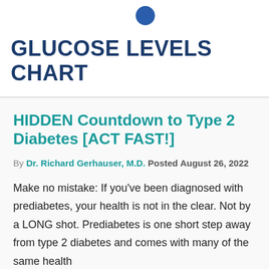[Figure (logo): Blue circle logo icon at top center of page]
GLUCOSE LEVELS CHART
HIDDEN Countdown to Type 2 Diabetes [ACT FAST!]
By Dr. Richard Gerhauser, M.D. Posted August 26, 2022
Make no mistake: If you've been diagnosed with prediabetes, your health is not in the clear. Not by a LONG shot. Prediabetes is one short step away from type 2 diabetes and comes with many of the same health